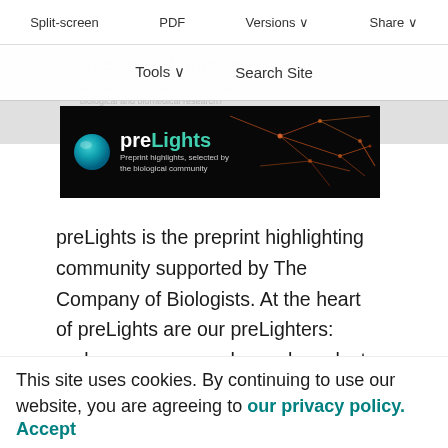Split-screen   PDF   Versions ∨   Share ∨
[Figure (screenshot): Dropdown menu overlay showing 'Tools ∨' and 'Search Site' buttons over a blurred background with 'Become a preLighter' text]
[Figure (logo): preLights banner with logo — teal sphere icon, 'preLights' text in white, tagline 'Preprint highlights, selected by the biological community', neural network imagery on black background]
preLights is the preprint highlighting community supported by The Company of Biologists. At the heart of preLights are our preLighters: early-career researchers who select and write about interesting new preprints for the research community. We are currently looking
This site uses cookies. By continuing to use our website, you are agreeing to our privacy policy.
Accept